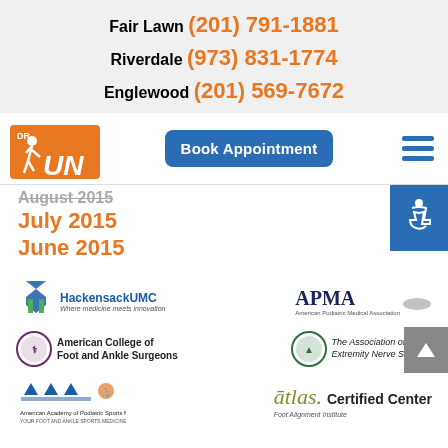Fair Lawn (201) 791-1881
Riverdale (973) 831-1774
Englewood (201) 569-7672
[Figure (logo): Dr. Run logo — orange runner figure with DR RUN text]
[Figure (other): Book Appointment button (blue rounded rectangle)]
[Figure (other): Hamburger menu icon (three blue horizontal lines)]
August 2015
July 2015
June 2015
[Figure (logo): HackensackUMC logo — Where medicine meets innovation]
[Figure (logo): APMA — American Podiatric Medical Association logo]
[Figure (logo): American College of Foot and Ankle Surgeons logo]
[Figure (logo): The Association of Extremity Nerve Surgeons logo]
[Figure (logo): American Academy of Podiatric Sports Medicine (AAPSM) logo]
[Figure (logo): Atlas Foot Alignment Institute — Certified Center logo]